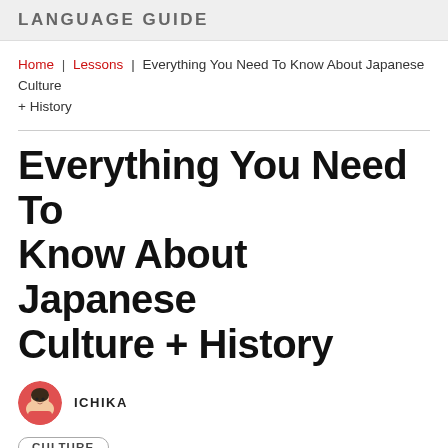LANGUAGE GUIDE
Home | Lessons | Everything You Need To Know About Japanese Culture + History
Everything You Need To Know About Japanese Culture + History
ICHIKA
CULTURE
Japanese culture has been developing since 14,000 BC, which is the start of the